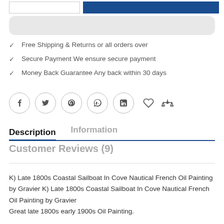[Figure (screenshot): Top navigation bar with input field and dark blue button]
Free Shipping & Returns or all orders over
Secure Payment We ensure secure payment
Money Back Guarantee Any back within 30 days
[Figure (infographic): Social media icon buttons: Facebook, Twitter, Pinterest, WhatsApp, LinkedIn circles, heart icon, and balance/compare icon]
Description
Information
Customer Reviews (9)
K) Late 1800s Coastal Sailboat In Cove Nautical French Oil Painting by Gravier K) Late 1800s Coastal Sailboat In Cove Nautical French Oil Painting by Gravier
Great late 1800s early 1900s Oil Painting.